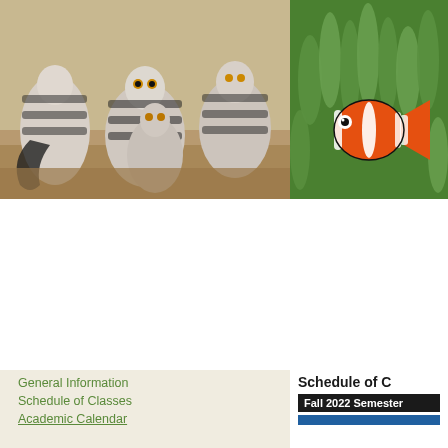[Figure (logo): Animal Behavior Institute logo with green square containing white swirl and text 'Animal Behavior Institute' on white background]
A more personal e
HOME | WHY ABI | PROGRAMS | TUITION | APPLY ONLINE | RE
[Figure (photo): Group of ring-tailed lemurs sitting together on a rock surface]
[Figure (photo): Close-up of a clownfish among green sea anemone tentacles]
General Information
Schedule of Classes
Academic Calendar
Schedule of C
Fall 2022 Semester